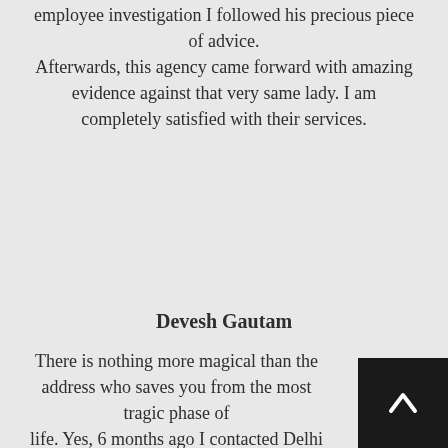employee investigation I followed his precious piece of advice. Afterwards, this agency came forward with amazing evidence against that very same lady. I am completely satisfied with their services.
Devesh Gautam
There is nothing more magical than the address who saves you from the most tragic phase of life. Yes, 6 months ago I contacted Delhi Detective for managing a love affair based investigation on my ex-partner. Fortunately, they confronted me with shocking evidence